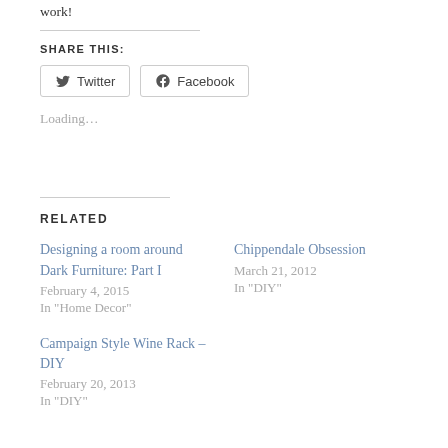work!
SHARE THIS:
Twitter  Facebook  Loading…
RELATED
Designing a room around Dark Furniture: Part I
February 4, 2015
In "Home Decor"
Chippendale Obsession
March 21, 2012
In "DIY"
Campaign Style Wine Rack – DIY
February 20, 2013
In "DIY"